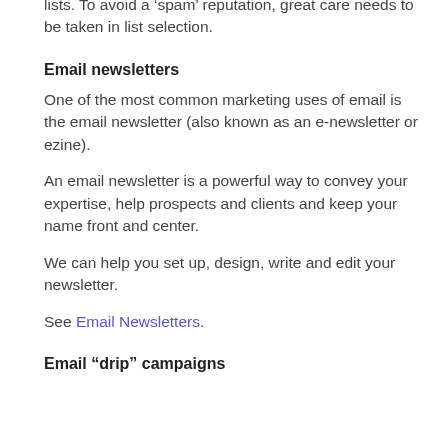lists. To avoid a 'spam' reputation, great care needs to be taken in list selection.
Email newsletters
One of the most common marketing uses of email is the email newsletter (also known as an e-newsletter or ezine).
An email newsletter is a powerful way to convey your expertise, help prospects and clients and keep your name front and center.
We can help you set up, design, write and edit your newsletter.
See Email Newsletters.
Email “drip” campaigns